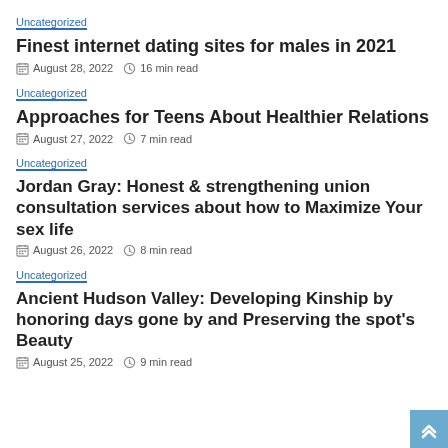Uncategorized
Finest internet dating sites for males in 2021
August 28, 2022  16 min read
Uncategorized
Approaches for Teens About Healthier Relations
August 27, 2022  7 min read
Uncategorized
Jordan Gray: Honest & strengthening union consultation services about how to Maximize Your sex life
August 26, 2022  8 min read
Uncategorized
Ancient Hudson Valley: Developing Kinship by honoring days gone by and Preserving the spot's Beauty
August 25, 2022  9 min read